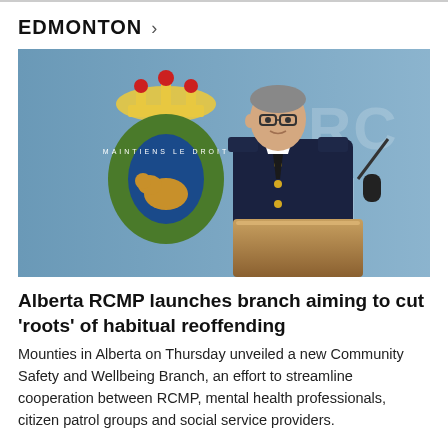EDMONTON >
[Figure (photo): An RCMP officer in dark blue uniform with gold buttons stands at a wooden podium speaking at a press conference. Behind him is a blue backdrop showing the RCMP crest (featuring a bison, crown, and maple leaves) and partially visible 'RCMP' letters. A microphone is visible to the right.]
Alberta RCMP launches branch aiming to cut 'roots' of habitual reoffending
Mounties in Alberta on Thursday unveiled a new Community Safety and Wellbeing Branch, an effort to streamline cooperation between RCMP, mental health professionals, citizen patrol groups and social service providers.